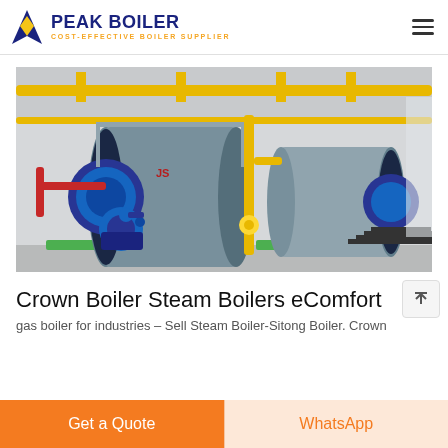PEAK BOILER — COST-EFFECTIVE BOILER SUPPLIER
[Figure (photo): Industrial boiler room showing two large horizontal steam boilers (dark blue/grey) with yellow overhead pipes, gas connections, and metal staircases in a factory setting.]
Crown Boiler Steam Boilers eComfort
gas boiler for industries – Sell Steam Boiler-Sitong Boiler. Crown
Get a Quote
WhatsApp